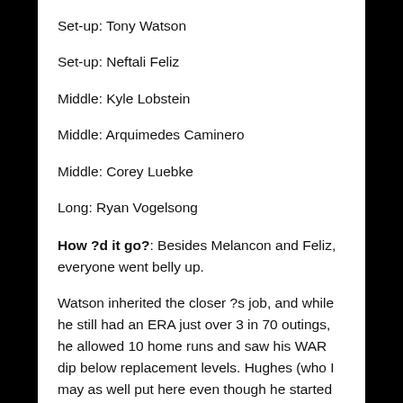Set-up: Tony Watson
Set-up: Neftali Feliz
Middle: Kyle Lobstein
Middle: Arquimedes Caminero
Middle: Corey Luebke
Long: Ryan Vogelsong
How ?d it go?: Besides Melancon and Feliz, everyone went belly up.
Watson inherited the closer ?s job, and while he still had an ERA just over 3 in 70 outings, he allowed 10 home runs and saw his WAR dip below replacement levels. Hughes (who I may as well put here even though he started the year on the DL) also had a low three